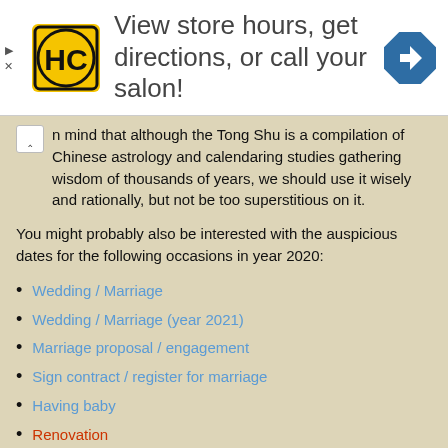[Figure (logo): HC Superstore yellow and black logo icon with HC letters in a circle]
View store hours, get directions, or call your salon!
keep in mind that although the Tong Shu is a compilation of Chinese astrology and calendaring studies gathering wisdom of thousands of years, we should use it wisely and rationally, but not be too superstitious on it.
You might probably also be interested with the auspicious dates for the following occasions in year 2020:
Wedding / Marriage
Wedding / Marriage (year 2021)
Marriage proposal / engagement
Sign contract / register for marriage
Having baby
Renovation
Moving house / office